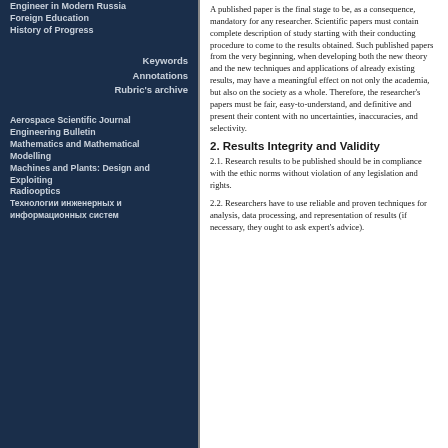Engineer in Modern Russia
Foreign Education
History of Progress
Keywords
Annotations
Rubric's archive
Aerospace Scientific Journal
Engineering Bulletin
Mathematics and Mathematical Modelling
Machines and Plants: Design and Exploiting
Radiooptics
Технологии инженерных и информационных систем
A published paper is the final stage to be, as a consequence, mandatory for any researcher. Scientific papers must contain complete description of study starting with their conducting procedure to come to the results obtained. Such published papers from the very beginning, when developing both the new theory and the new techniques and applications of already existing results, may have a meaningful effect on not only the academia, but also on the society as a whole. Therefore, the researcher's papers must be fair, easy-to-understand, and definitive and present their content with no uncertainties, inaccuracies, and selectivity.
2. Results Integrity and Validity
2.1. Research results to be published should be in compliance with the ethic norms without violation of any legislation and rights.
2.2. Researchers have to use reliable and proven techniques for analysis, data processing, and representation of results (if necessary, they ought to ask expert's advice).